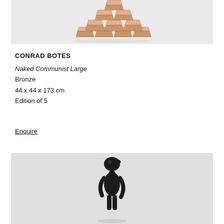[Figure (photo): Photograph of copper/rose-gold colored metal ingot bars stacked in a pyramid formation on a white/light grey background]
CONRAD BOTES
Naked Communist Large
Bronze
44 x 44 x 173 cm
Edition of 5
Enquire
[Figure (photo): Photograph of a dark matte black sculpture of a humanoid figure with a bird-like head, looking upward, against a light grey background]